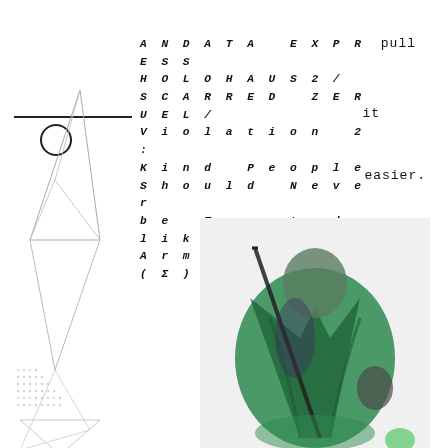ANDATA EXPRESS / HOLOHAUS2 / SCARRED ZERUEL / Violation 2: Kind People Should Never be Treated like Empty Arms (Σ)
pull it easier. It's always about pain with them. Her head is a
[Figure (illustration): Abstract geometric line drawing of triangular and angular shapes, left side of page]
[Figure (photo): Figure in green robes/cloak holding a sword-like object, stylized photograph]